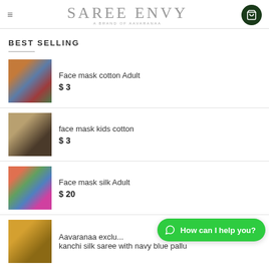Saree Envy — A Brand of Aavaranaa
BEST SELLING
Face mask cotton Adult — $3
face mask kids cotton — $3
Face mask silk Adult — $20
Aavaranaa exclusive kanchi silk saree with navy blue pallu